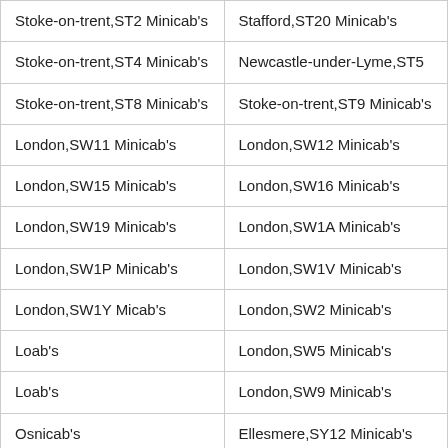| Column 1 | Column 2 |
| --- | --- |
| Stoke-on-trent,ST2 Minicab's | Stafford,ST20 Minicab's |
| Stoke-on-trent,ST4 Minicab's | Newcastle-under-Lyme,ST5 |
| Stoke-on-trent,ST8 Minicab's | Stoke-on-trent,ST9 Minicab's |
| London,SW11 Minicab's | London,SW12 Minicab's |
| London,SW15 Minicab's | London,SW16 Minicab's |
| London,SW19 Minicab's | London,SW1A Minicab's |
| London,SW1P Minicab's | London,SW1V Minicab's |
| London,SW1Y Minicab's | London,SW2 Minicab's |
| London,SW[obscured] Minicab's | London,SW5 Minicab's |
| London,SW[obscured] Minicab's | London,SW9 Minicab's |
| Oswestry,[obscured] Minicab's | Ellesmere,SY12 Minicab's |
| Montgomery,SY15 Minicab's | Newtown,SY16 Minicab's |
| Llanbrynmair,SY19 Minicab's | Shrewsbury,SY2 Minicab's |